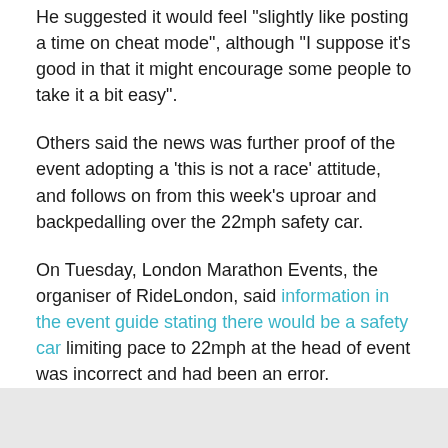He suggested it would feel "slightly like posting a time on cheat mode", although "I suppose it's good in that it might encourage some people to take it a bit easy".
Others said the news was further proof of the event adopting a 'this is not a race' attitude, and follows on from this week's uproar and backpedalling over the 22mph safety car.
On Tuesday, London Marathon Events, the organiser of RideLondon, said information in the event guide stating there would be a safety car limiting pace to 22mph at the head of event was incorrect and had been an error.
> RideLondon safety car WON'T set 22mph speed limit — organisers admit race guide was "incorrect"